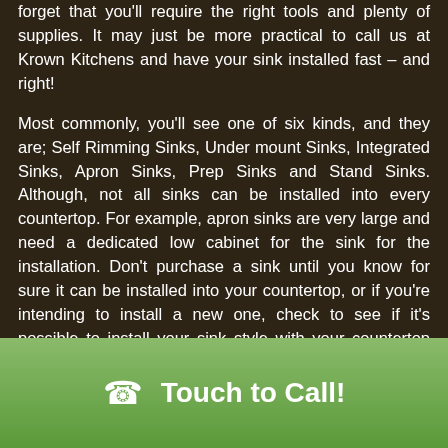forget that you'll require the right tools and plenty of supplies. It may just be more practical to call us at Krown Kitchens and have your sink installed fast – and right!
Most commonly, you'll see one of six kinds, and they are; Self Rimming Sinks, Under mount Sinks, Integrated Sinks, Apron Sinks, Prep Sinks and Stand Sinks. Although, not all sinks can be installed into every countertop. For example, apron sinks are very large and need a dedicated low cabinet for the sink for the installation. Don't purchase a sink until you know for sure it can be installed into your countertop, or if you're intending to install a new one, check to see if it's possible to install your sink style with your countertop choice of material. At Krown Kitchens in Kane we understand the ins 'n outs intimately. Just call us today and we'll take care of it.
Touch to Call!